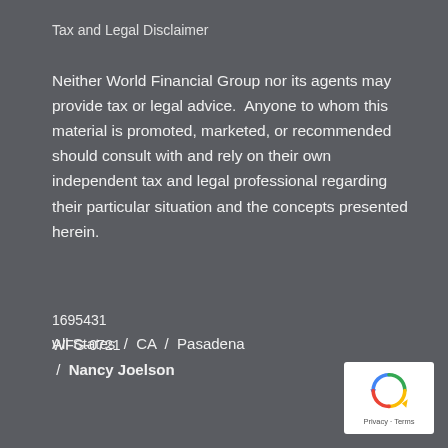Tax and Legal Disclaimer
Neither World Financial Group nor its agents may provide tax or legal advice.  Anyone to whom this material is promoted, marketed, or recommended should consult with and rely on their own independent tax and legal professional regarding their particular situation and the concepts presented herein.
1695431
WFG-0721
All States / CA / Pasadena / Nancy Joelson